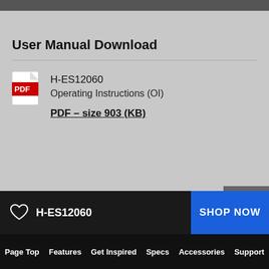User Manual Download
H-ES12060
Operating Instructions (OI)
PDF – size 903 (KB)
Chat
H-ES12060  SHOP NOW
Page Top  Features  Get Inspired  Specs  Accessories  Support